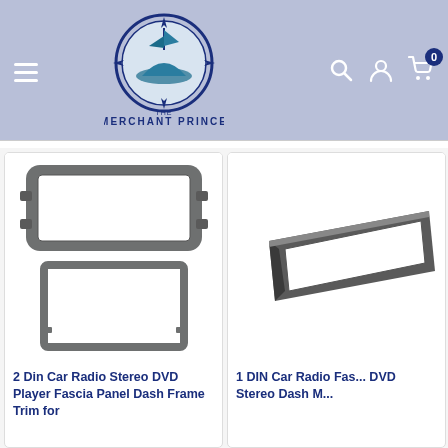The Merchant Prince — navigation header with logo, search, account, and cart icons
[Figure (photo): 2 Din Car Radio Stereo DVD Player Fascia Panel Dash Frame Trim — grey double-din and single-din adapter frames shown]
2 Din Car Radio Stereo DVD Player Fascia Panel Dash Frame Trim for
[Figure (photo): 1 DIN Car Radio Fascia DVD Stereo Dash Mount — grey single DIN frame trim piece shown at angle]
1 DIN Car Radio Fascia DVD Stereo Dash M